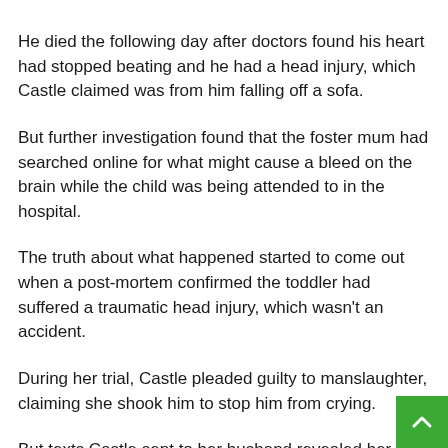He died the following day after doctors found his heart had stopped beating and he had a head injury, which Castle claimed was from him falling off a sofa.
But further investigation found that the foster mum had searched online for what might cause a bleed on the brain while the child was being attended to in the hospital.
The truth about what happened started to come out when a post-mortem confirmed the toddler had suffered a traumatic head injury, which wasn't an accident.
During her trial, Castle pleaded guilty to manslaughter, claiming she shook him to stop him from crying.
But texts Castle sent to her husband revealed her referring to Leiland James as a 'proper n*tbhood', a 'd*tk' and a 'st*t bag'.